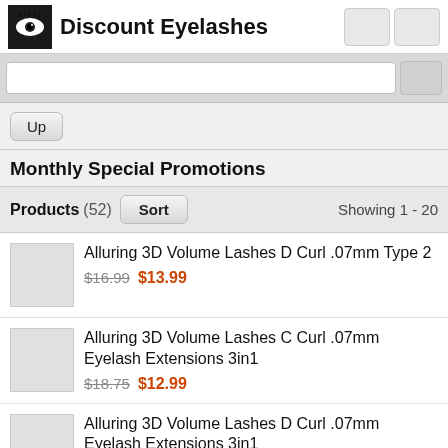Discount Eyelashes
Monthly Special Promotions
Products (52)   Sort   Showing 1 - 20
Alluring 3D Volume Lashes D Curl .07mm Type 2 — $16.99 / $13.99
Alluring 3D Volume Lashes C Curl .07mm Eyelash Extensions 3in1 — $18.75 / $12.99
Alluring 3D Volume Lashes D Curl .07mm Eyelash Extensions 3in1 — $18.75 / $12.99